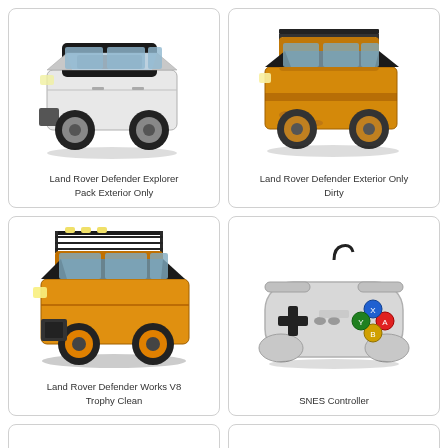[Figure (illustration): 3D render of a white Land Rover Defender with black roof and hood accents, viewed from front-left angle]
Land Rover Defender Explorer Pack Exterior Only
[Figure (illustration): 3D render of a yellow/orange Land Rover Defender with dirt/weathering effects and roof rack, viewed from front-right angle]
Land Rover Defender Exterior Only Dirty
[Figure (illustration): 3D render of a yellow/orange Land Rover Defender Works V8 with roof rack and black accents, viewed from front-left angle]
Land Rover Defender Works V8 Trophy Clean
[Figure (illustration): 3D render of a SNES (Super Nintendo) controller, gray/white with colored buttons (green, yellow, red, blue)]
SNES Controller